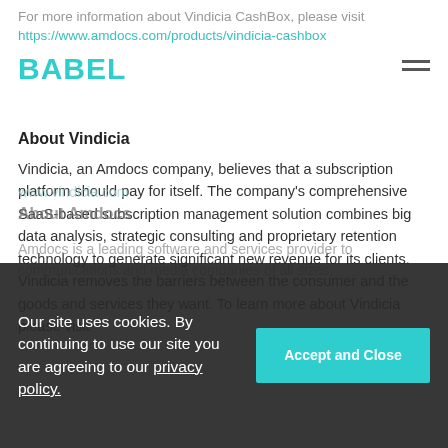For more information about Vindicia CashBox, please visit https://www.amdocs.com/products/vindicia-cashbox
About Vindicia
Vindicia, an Amdocs company, believes that a subscription platform should pay for itself. The company's comprehensive SaaS-based subscription management solution combines big data analysis, strategic consulting and proprietary retention technology to generate significant new revenue for its clients. Vindicia removes the barriers between the consumer and the goods and services they want. To learn more about Vindicia please visit www.vindicia.com
About Amdocs
Amdocs is a leading software and services provider to communications and media companies of all sizes,
Our site uses cookies. By continuing to use our site you are agreeing to our privacy policy.